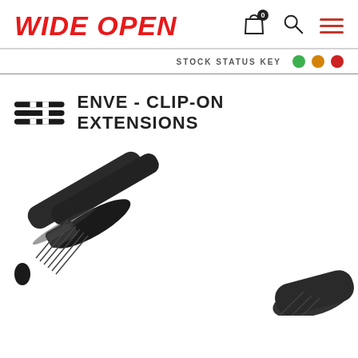WIDE OPEN
STOCK STATUS KEY
ENVE - CLIP-ON EXTENSIONS
[Figure (photo): Product photo of ENVE clip-on aero bar extensions, shown as dark/black carbon fiber handlebar extensions with clamps, partially cropped at bottom of page.]